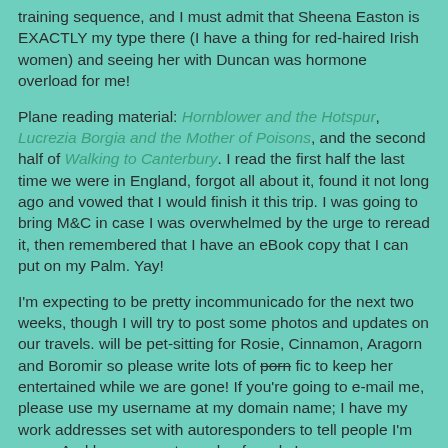training sequence, and I must admit that Sheena Easton is EXACTLY my type there (I have a thing for red-haired Irish women) and seeing her with Duncan was hormone overload for me!
Plane reading material: Hornblower and the Hotspur, Lucrezia Borgia and the Mother of Poisons, and the second half of Walking to Canterbury. I read the first half the last time we were in England, forgot all about it, found it not long ago and vowed that I would finish it this trip. I was going to bring M&C in case I was overwhelmed by the urge to reread it, then remembered that I have an eBook copy that I can put on my Palm. Yay!
I'm expecting to be pretty incommunicado for the next two weeks, though I will try to post some photos and updates on our travels. will be pet-sitting for Rosie, Cinnamon, Aragorn and Boromir so please write lots of porn fic to keep her entertained while we are gone! If you're going to e-mail me, please use my username at my domain name; I have my work addresses set with autoresponders to tell people I'm away. And have a great couple of weeks!